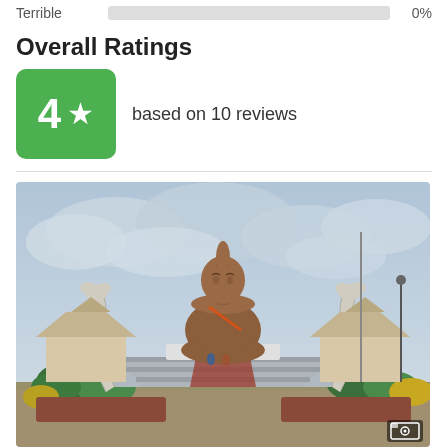Terrible    0%
Overall Ratings
4 ★  based on 10 reviews
[Figure (photo): Large seated Buddha statue (brownish-orange) on a raised platform with grand staircase, flanked by naga serpent statues and temple buildings, overcast sky background, photo icon overlay bottom right.]